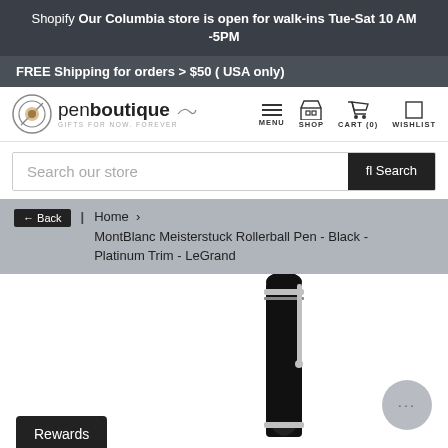Shopify Our Columbia store is open for walk-ins Tue-Sat 10 AM -5PM
FREE Shipping for orders > $50 ( USA only)
[Figure (logo): Pen Boutique logo with circular pen nib icon and text 'penboutique GIFTS FOR NOW. FOREVER']
MENU  SHOP  CART (0)  WISHLIST
Search our store
Back | Home › MontBlanc Meisterstuck Rollerball Pen - Black - Platinum Trim - LeGrand
[Figure (photo): MontBlanc Meisterstuck Rollerball Pen - Black - Platinum Trim - LeGrand, showing the black pen with platinum trim at an angle against white background]